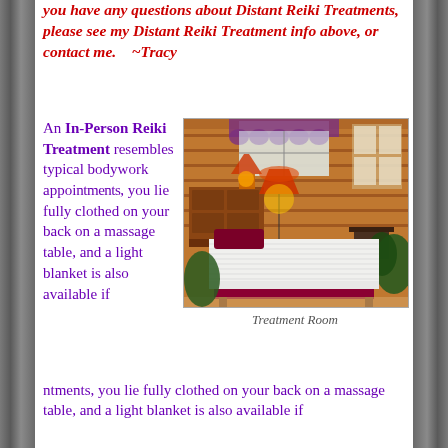you have any questions about Distant Reiki Treatments, please see my Distant Reiki Treatment info above, or contact me.    ~Tracy
An In-Person Reiki Treatment resembles typical bodywork appointments, you lie fully clothed on your back on a massage table, and a light blanket is also available if
[Figure (photo): Interior photo of a Reiki treatment room with warm wooden paneled walls, a massage table covered with a white crocheted blanket and burgundy/dark red bedskirt, a lamp on a dresser, curtained window with purple valance, plants, and a bulletin board on the wall.]
Treatment Room